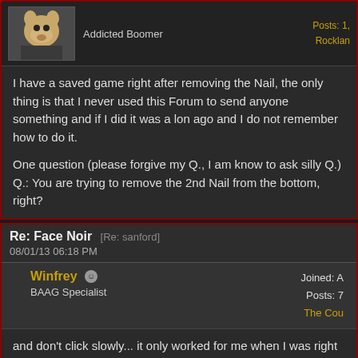Addicted Boomer
Posts: 1,
Rockland
I have a saved game right after removing the Nail, the only thing is that I never used this Forum to send anyone something and if I did it was a long ago and I do not remember how to do it.

One question (please forgive my Q., I am know to ask silly Q.)
Q.: You are trying to remove the 2nd Nail from the bottom, right?
Re: Face Noir [Re: sanford]
08/01/13 06:18 PM
Winfrey
BAAG Specialist
Joined: A
Posts: 7
The Cou
and don't click slowly... it only worked for me when I was right clicking like crazy woman I am.
Re: Face Noir [Re: sanford]